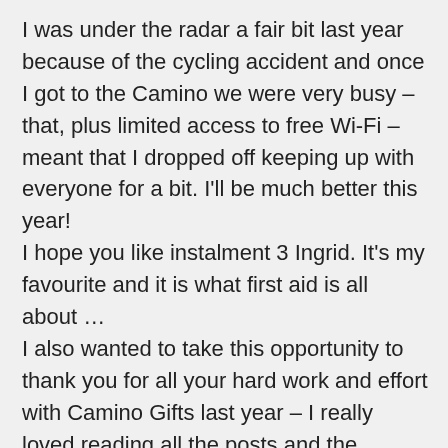I was under the radar a fair bit last year because of the cycling accident and once I got to the Camino we were very busy – that, plus limited access to free Wi-Fi – meant that I dropped off keeping up with everyone for a bit. I'll be much better this year!
I hope you like instalment 3 Ingrid. It's my favourite and it is what first aid is all about …
I also wanted to take this opportunity to thank you for all your hard work and effort with Camino Gifts last year – I really loved reading all the posts and the friends in the group are so wonderful. I loved your New Year message to Bill, Susan and me – it